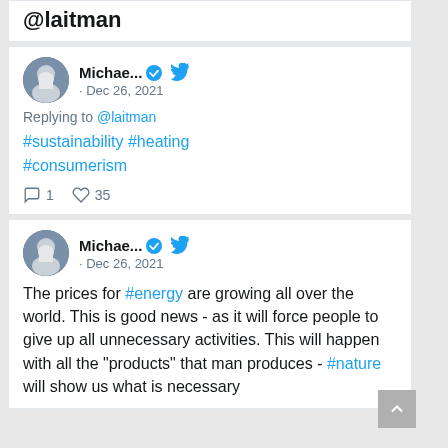@laitman
Michae... · Dec 26, 2021
Replying to @laitman
#sustainability #heating #consumerism
1 comment · 35 likes
Michae... · Dec 26, 2021
The prices for #energy are growing all over the world. This is good news - as it will force people to give up all unnecessary activities. This will happen with all the "products" that man produces - #nature will show us what is necessary